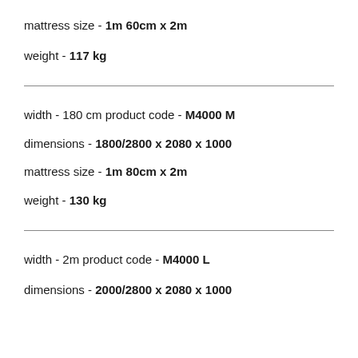mattress size - 1m 60cm x 2m
weight - 117 kg
width - 180 cm product code - M4000 M
dimensions - 1800/2800 x 2080 x 1000
mattress size - 1m 80cm x 2m
weight - 130 kg
width - 2m product code - M4000 L
dimensions - 2000/2800 x 2080 x 1000